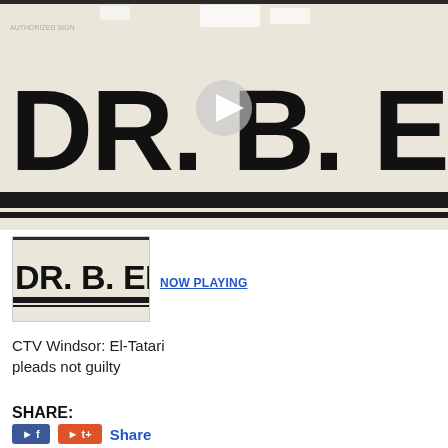[Figure (screenshot): A large video player showing a close-up photo of a sign reading 'DR. B. EL-TATARI' in large black bold letters on a cream/off-white background. A white play button triangle is overlaid in the center of the image. The sign has a thick black border stripe near the bottom.]
[Figure (screenshot): A smaller thumbnail image of the same DR. B. EL-TATARI sign, labeled NOW PLAYING in blue underlined text next to it.]
CTV Windsor: El-Tatari pleads not guilty
SHARE:
Share